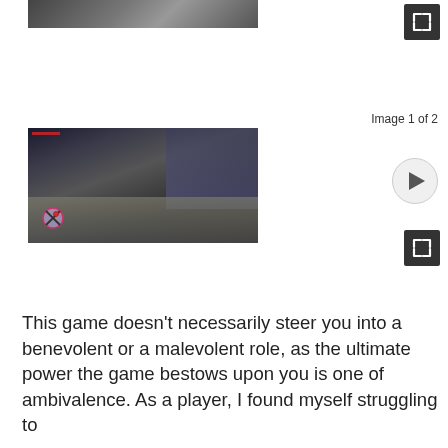[Figure (screenshot): Partial top of a game screenshot (cropped at top of page)]
[Figure (other): Expand/fullscreen button icon (top right)]
Image 1 of 2
[Figure (screenshot): Game screenshot showing a dark action scene in a city street with a mechanical/robotic character, buildings in background, HUD elements including a red health bar and controller icon overlay]
[Figure (other): Play button (circular, gray outline)]
[Figure (other): Expand/fullscreen button icon (bottom right)]
This game doesn't necessarily steer you into a benevolent or a malevolent role, as the ultimate power the game bestows upon you is one of ambivalence. As a player, I found myself struggling to